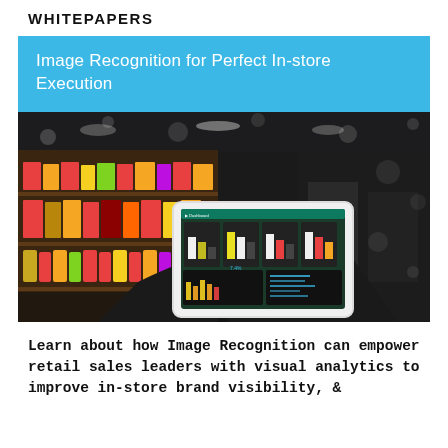WHITEPAPERS
Image Recognition for Perfect In-store Execution
[Figure (photo): Person holding a tablet displaying a retail analytics dashboard with bar charts, in a supermarket aisle with colorful product shelves and bokeh lighting in the background.]
Learn about how Image Recognition can empower retail sales leaders with visual analytics to improve in-store brand visibility, &